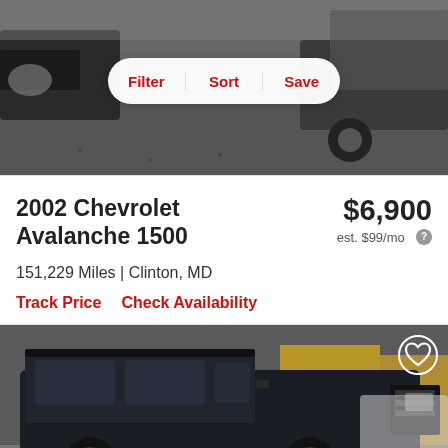[Figure (photo): Top portion of a car listing page showing a partial view of a dark colored truck/SUV in a parking lot, with filter/sort/save toolbar overlay]
Filter  Sort  Save
2002 Chevrolet Avalanche 1500
$6,900
est. $99/mo
151,229 Miles | Clinton, MD
Track Price   Check Availability
[Figure (photo): Photo of a dark navy/black 2002 Chevrolet Avalanche 1500 truck parked in a lot, front 3/4 view, with a heart/save icon in the top right corner]